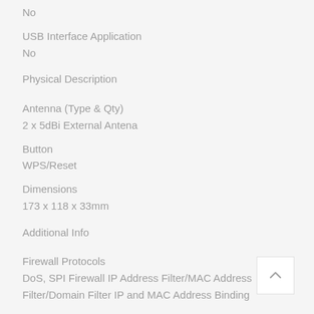No
USB Interface Application
No
Physical Description
Antenna (Type & Qty)
2 x 5dBi External Antena
Button
WPS/Reset
Dimensions
173 x 118 x 33mm
Additional Info
Firewall Protocols
DoS, SPI Firewall IP Address Filter/MAC Address Filter/Domain Filter IP and MAC Address Binding
WiFi Coverage (Approximate)
Up to 1500 sq. ft.
Number of Concurrent User
Up to 15 User connections